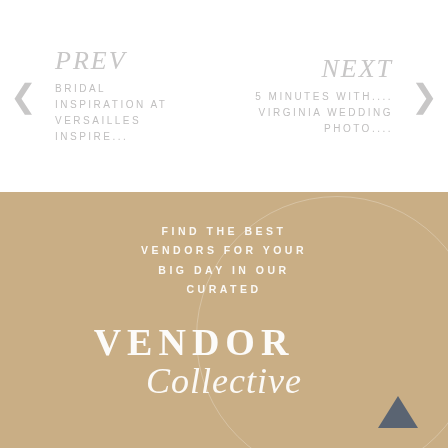PREV
BRIDAL INSPIRATION AT VERSAILLES INSPIRE...
NEXT
5 MINUTES WITH... VIRGINIA WEDDING PHOTO....
[Figure (infographic): Tan/beige banner advertisement for Vendor Collective with decorative circle element and scroll-up arrow. Text reads FIND THE BEST VENDORS FOR YOUR BIG DAY IN OUR CURATED VENDOR Collective]